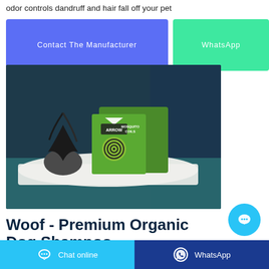odor controls dandruff and hair fall off your pet
Contact The Manufacturer
WhatsApp
[Figure (photo): Arrow brand Mosquito Coils product box placed on white fabric against a dark teal background with a decorative plant]
Woof - Premium Organic Dog Shampoo
Chat online
WhatsApp